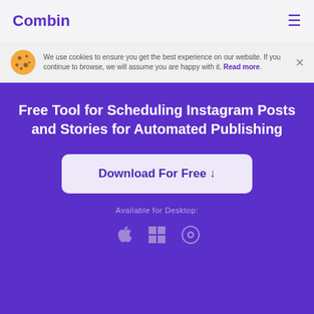Combin
We use cookies to ensure you get the best experience on our website. If you continue to browse, we will assume you are happy with it. Read more.
Free Tool for Scheduling Instagram Posts and Stories for Automated Publishing
Download For Free ↓
Available for Desktop:
[Figure (illustration): Platform icons: Apple, Windows, Ubuntu/Linux]